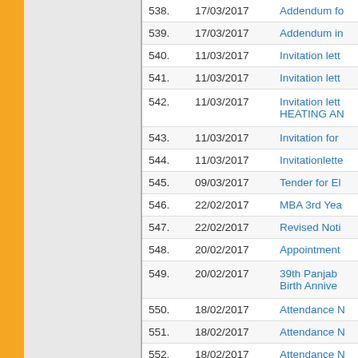| No. | Date | Title |
| --- | --- | --- |
| 538. | 17/03/2017 | Addendum fo... |
| 539. | 17/03/2017 | Addendum in... |
| 540. | 11/03/2017 | Invitation lett... |
| 541. | 11/03/2017 | Invitation lett... |
| 542. | 11/03/2017 | Invitation lett... HEATING AN... |
| 543. | 11/03/2017 | Invitation for... |
| 544. | 11/03/2017 | Invitationlette... |
| 545. | 09/03/2017 | Tender for El... |
| 546. | 22/02/2017 | MBA 3rd Yea... |
| 547. | 22/02/2017 | Revised Noti... |
| 548. | 20/02/2017 | Appointment... |
| 549. | 20/02/2017 | 39th Panjab... Birth Annive... |
| 550. | 18/02/2017 | Attendance N... |
| 551. | 18/02/2017 | Attendance N... |
| 552. | 18/02/2017 | Attendance N... |
| 553. | 18/02/2017 | Attendance ... |